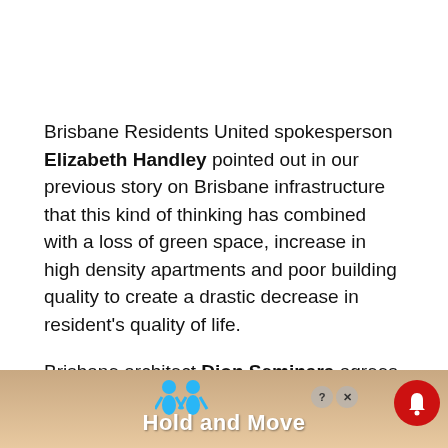Brisbane Residents United spokesperson Elizabeth Handley pointed out in our previous story on Brisbane infrastructure that this kind of thinking has combined with a loss of green space, increase in high density apartments and poor building quality to create a drastic decrease in resident's quality of life.
Brisbane architect Dion Seminara agrees.
[Figure (screenshot): Advertisement banner at the bottom of the page showing a game called 'Hold and Move' with cartoon figures, control icons and a notification bell icon]